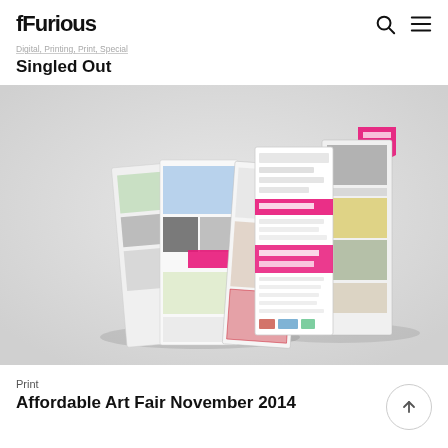fFurious
Digital, Printing, Print, Special
Singled Out
[Figure (photo): Two trifold brochures photographed on a light grey background. Left brochure is open/folded showing colorful panels with images of food, people, and decorative patterns. Right brochure shows printed schedule/information panels with pink accent stripes and a pink flag at top.]
Print
Affordable Art Fair November 2014